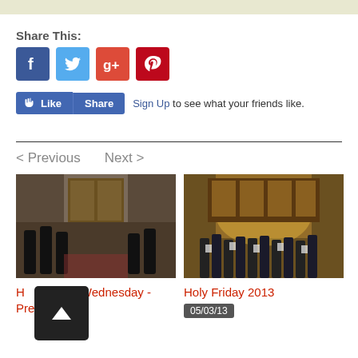Share This:
[Figure (infographic): Social media share icons: Facebook (blue), Twitter (cyan), Google+ (red), Pinterest (dark red)]
[Figure (infographic): Facebook Like and Share buttons with Sign Up text: 'Sign Up to see what your friends like.']
< Previous
Next >
[Figure (photo): Church interior with robed figures - Holy Great Wednesday - Presanctified]
H... reat Wednesday - Presanctified
[Figure (photo): Church interior with gathered worshippers holding papers - Holy Friday 2013]
Holy Friday 2013
05/03/13